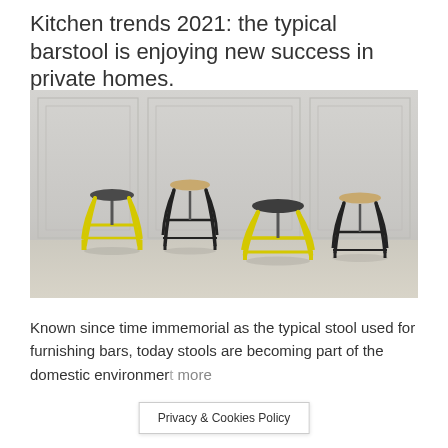Kitchen trends 2021: the typical barstool is enjoying new success in private homes.
[Figure (photo): Four bar stools photographed against a grey panelled wall: two with yellow metal frames and dark/wood seats, two with black metal frames and dark/wood seats, arranged on a light hardwood floor.]
Known since time immemorial as the typical stool used for furnishing bars, today stools are becoming part of the domestic environmer... more
Privacy & Cookies Policy